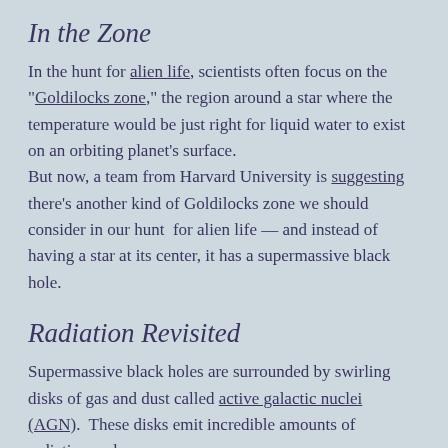In the Zone
In the hunt for alien life, scientists often focus on the "Goldilocks zone," the region around a star where the temperature would be just right for liquid water to exist on an orbiting planet's surface.
But now, a team from Harvard University is suggesting there's another kind of Goldilocks zone we should consider in our hunt for alien life — and instead of having a star at its center, it has a supermassive black hole.
Radiation Revisited
Supermassive black holes are surrounded by swirling disks of gas and dust called active galactic nuclei (AGN). These disks emit incredible amounts of radiation and